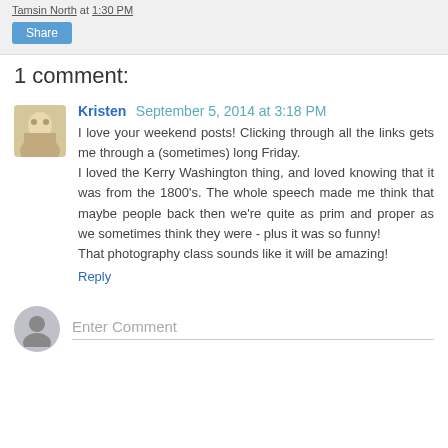Tamsin North at 1:30 PM
Share
1 comment:
Kristen September 5, 2014 at 3:18 PM
I love your weekend posts! Clicking through all the links gets me through a (sometimes) long Friday.
I loved the Kerry Washington thing, and loved knowing that it was from the 1800's. The whole speech made me think that maybe people back then we're quite as prim and proper as we sometimes think they were - plus it was so funny!
That photography class sounds like it will be amazing!
Reply
Enter Comment